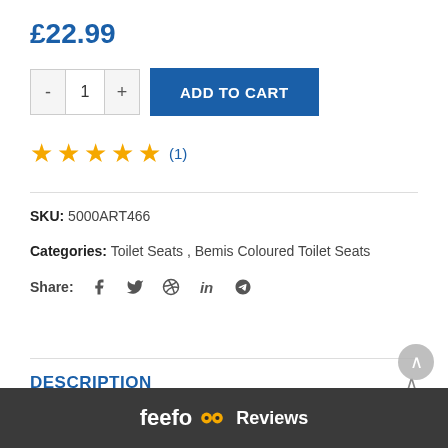£22.99
ADD TO CART
★★★★★ (1)
SKU: 5000ART466
Categories: Toilet Seats , Bemis Coloured Toilet Seats
Share:
DESCRIPTION
Pampas coloured replacement toilet seat designed and manufactured by Bemis with STA-TITE patented fixing system will not loosen! Sim... sures your seat